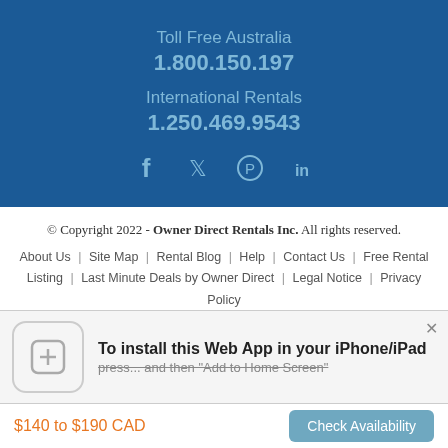Toll Free Australia
1.800.150.197
International Rentals
1.250.469.9543
[Figure (other): Social media icons: Facebook, Twitter, Pinterest, LinkedIn]
© Copyright 2022 - Owner Direct Rentals Inc. All rights reserved.
About Us | Site Map | Rental Blog | Help | Contact Us | Free Rental Listing | Last Minute Deals by Owner Direct | Legal Notice | Privacy Policy
[Figure (screenshot): Mobile web app install banner: icon with plus sign, text 'To install this Web App in your iPhone/iPad press... and then Add to Home Screen', close button]
$140 to $190 CAD
Check Availability